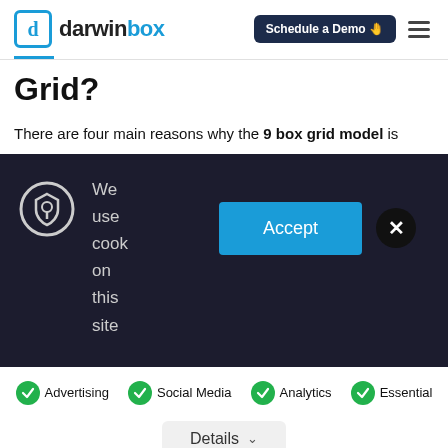darwinbox — Schedule a Demo
Grid?
There are four main reasons why the 9 box grid model is
[Figure (screenshot): Cookie consent banner with dark background showing a lock/shield icon, text 'We use cook on this site', an Accept button in blue, and an X close button]
Advertising
Social Media
Analytics
Essential
Details